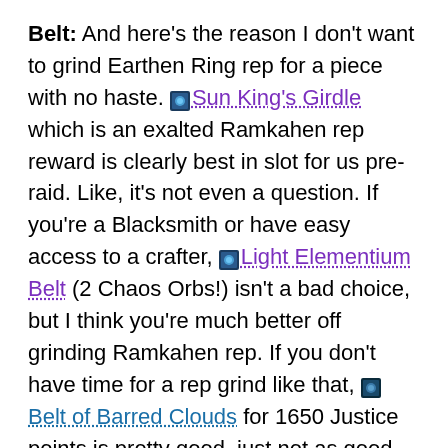Belt: And here's the reason I don't want to grind Earthen Ring rep for a piece with no haste. [icon] Sun King's Girdle which is an exalted Ramkahen rep reward is clearly best in slot for us pre-raid. Like, it's not even a question. If you're a Blacksmith or have easy access to a crafter, [icon] Light Elementium Belt (2 Chaos Orbs!) isn't a bad choice, but I think you're much better off grinding Ramkahen rep. If you don't have time for a rep grind like that, [icon] Belt of Barred Clouds for 1650 Justice points is pretty good, just not as good as the SKG.
Legs: Another bunch of pretty poor choices here, which means we're going to have to go kill Lord Godrey in heroic Shadowfang Keep again for [icon]...